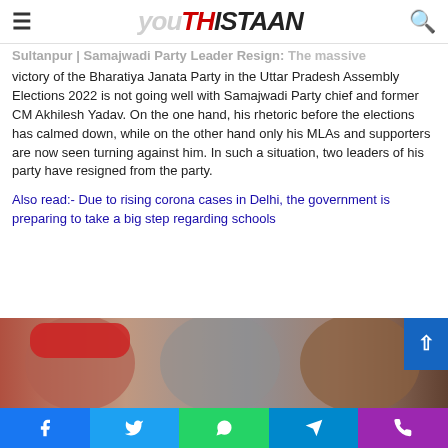youthistaan (logo)
Sultanpur | Samajwadi Party Leader Resign: The massive victory of the Bharatiya Janata Party in the Uttar Pradesh Assembly Elections 2022 is not going well with Samajwadi Party chief and former CM Akhilesh Yadav. On the one hand, his rhetoric before the elections has calmed down, while on the other hand only his MLAs and supporters are now seen turning against him. In such a situation, two leaders of his party have resigned from the party.
Also read:- Due to rising corona cases in Delhi, the government is preparing to take a big step regarding schools
[Figure (photo): Three people's faces in a composite photo, one wearing a red head covering on left, blurred center, and a third on the right]
Social share bar: Facebook, Twitter, WhatsApp, Telegram, Phone